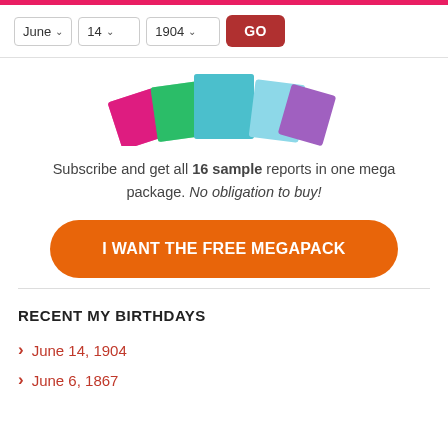June 14 1904 GO
[Figure (photo): Stack of colorful magazine/report booklets fanned out — pink, green, teal, blue, and purple covers]
Subscribe and get all 16 sample reports in one mega package. No obligation to buy!
I WANT THE FREE MEGAPACK
RECENT MY BIRTHDAYS
June 14, 1904
June 6, 1867